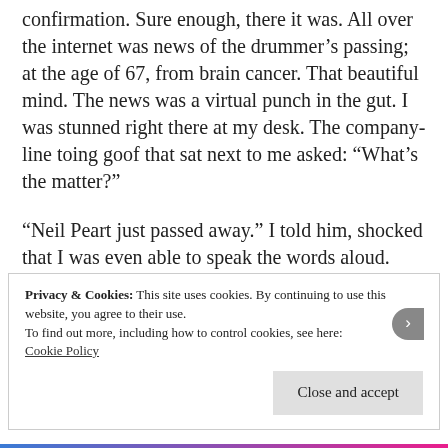confirmation. Sure enough, there it was. All over the internet was news of the drummer's passing; at the age of 67, from brain cancer. That beautiful mind. The news was a virtual punch in the gut. I was stunned right there at my desk. The company-line toing goof that sat next to me asked: “What’s the matter?”
“Neil Peart just passed away.” I told him, shocked that I was even able to speak the words aloud.
Privacy & Cookies: This site uses cookies. By continuing to use this website, you agree to their use.
To find out more, including how to control cookies, see here:
Cookie Policy
Close and accept